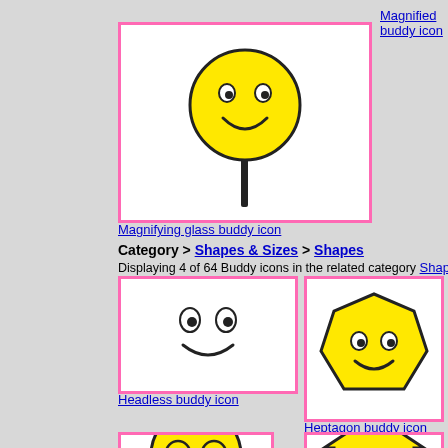Magnified buddy icon
[Figure (illustration): Buddy icon on a stick (magnifying glass shape) - yellow smiley face on a black stick, in a white box with pink border]
Magnifying glass buddy icon
Category > Shapes & Sizes > Shapes
Displaying 4 of 64 Buddy icons in the related category Shapes.
[Figure (illustration): Headless buddy icon - just eyes and smile, no head outline, white box with pink border]
Headless buddy icon
[Figure (illustration): Heptagon buddy icon - yellow heptagon shaped smiley face, white box with pink border]
Heptagon buddy icon
[Figure (illustration): Buddy icon with glasses - yellow smiley with round glasses, white box with pink border]
[Figure (illustration): House-shaped buddy icon - yellow house shape with smiley face, white box with pink border]